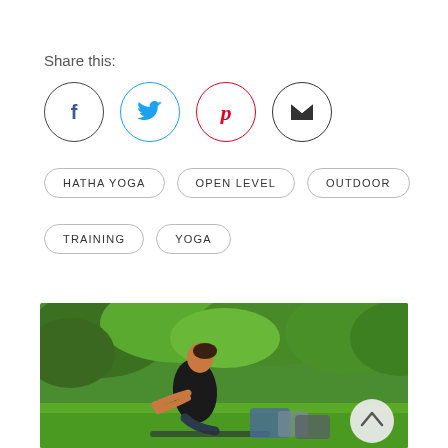Share this:
[Figure (infographic): Social sharing icons in circles: Facebook (dark border, blue f), Twitter (light blue border, blue bird), Pinterest (red border, red p), Email (dark border, dark envelope)]
HATHA YOGA
OPEN LEVEL
OUTDOOR
TRAINING
YOGA
[Figure (photo): A woman doing yoga outdoors in a park setting. She is seated on a yoga mat, wearing a black tank top and patterned leggings, with bags and gear visible behind her and green trees in the background. A scroll-up arrow button is overlaid in the lower right.]